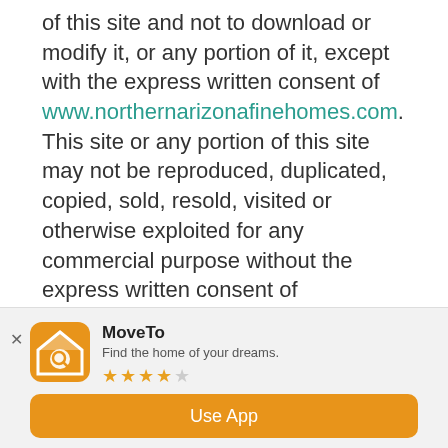of this site and not to download or modify it, or any portion of it, except with the express written consent of www.northernarizonafinehomes.com. This site or any portion of this site may not be reproduced, duplicated, copied, sold, resold, visited or otherwise exploited for any commercial purpose without the express written consent of www.northernarizonafinehomes.com.
Professional Real Estate Advisors
[Figure (infographic): App download banner for MoveTo app. Shows orange house/search icon, app name MoveTo, tagline 'Find the home of your dreams.', 4-star rating, and orange Use App button.]